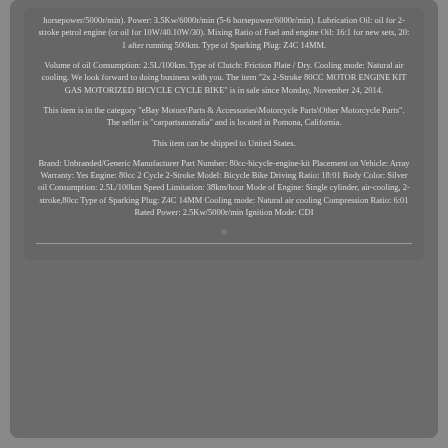horsepower/5000r/min). Power: 3.5Kw/6000r/min (5-6 horsepower/6000r/min). Lubrication Oil: oil for 2-stroke petrol engine (or oil for 10W/40.10W/30). Mixing Ratio of Fuel and engine Oil: 16:1 for new sets, 20: 1 after running 500km. Type of Sparking Plug: Z4C 14MM.
Volume of oil Consumption: 2.5L/100km. Type of Clutch: Friction Plate / Dry. Cooling mode: Natural air cooling. We look forward to doing business with you. The item "2x 2-Stroke 80CC MOTOR ENGINE KIT GAS MOTORIZED BICYCLE CYCLE BIKE" is in sale since Monday, November 24, 2014.
This item is in the category "eBay Motors\Parts & Accessories\Motorcycle Parts\Other Motorcycle Parts". The seller is "carpartsaustralia" and is located in Pomona, California.
This item can be shipped to United States.
Brand: Unbranded/Generic Manufacturer Part Number: 80cc-bicycle-engine-kit Placement on Vehicle: Array Warranty: Yes Engine: 80cc 2 Cycle 2-Stroke Model: Bicycle Bike Driving Ratio: 18:01 Body Color: Silver oil Consumption: 2.5L/100km Speed Limitation: 38km/hour Mode of Engine: Single cylinder, air-cooling, 2-stroke,80cc Type of Sparking Plug: Z4C 14MM Cooling mode: Natural air cooling Compression Ratio: 6:01 Rated Power: 2.5Kw/5000r/min Ignition Mode: CDI